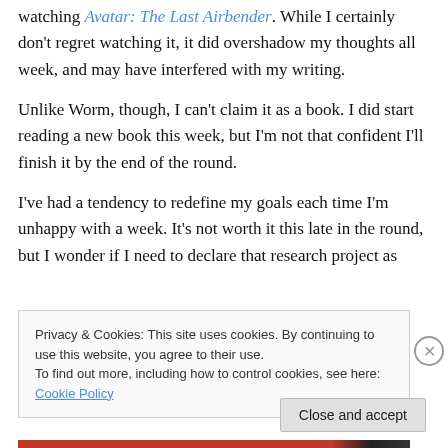watching Avatar: The Last Airbender. While I certainly don't regret watching it, it did overshadow my thoughts all week, and may have interfered with my writing.
Unlike Worm, though, I can't claim it as a book. I did start reading a new book this week, but I'm not that confident I'll finish it by the end of the round.
I've had a tendency to redefine my goals each time I'm unhappy with a week. It's not worth it this late in the round, but I wonder if I need to declare that research project as
Privacy & Cookies: This site uses cookies. By continuing to use this website, you agree to their use. To find out more, including how to control cookies, see here: Cookie Policy
Close and accept